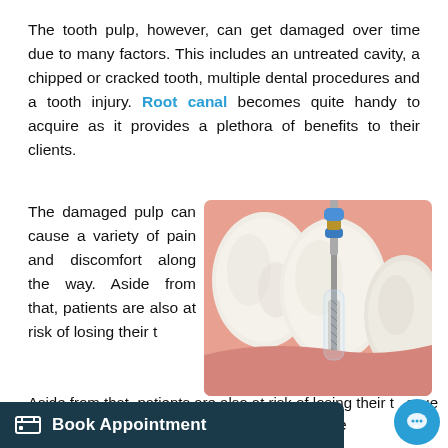The tooth pulp, however, can get damaged over time due to many factors. This includes an untreated cavity, a chipped or cracked tooth, multiple dental procedures and a tooth injury. Root canal becomes quite handy to acquire as it provides a plethora of benefits to their clients.
The damaged pulp can cause a variety of pain and discomfort along the way. Aside from that, patients are also at risk of losing their t...ssue people would w...d with no choice but to remove
[Figure (illustration): Medical illustration showing a cross-section of a tooth with a dental drill performing a root canal procedure. The drill has a blue component at the top and is inserted into the tooth, showing the root canal. Adjacent teeth and gum tissue are visible in pink.]
Book Appointment